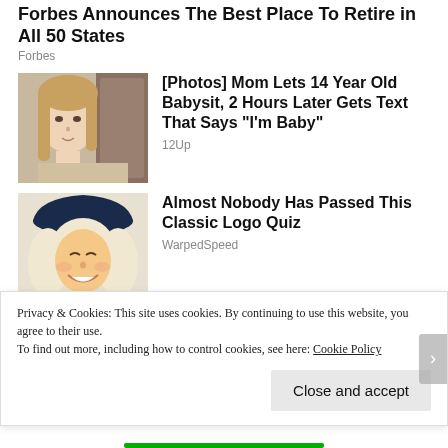Forbes Announces The Best Place To Retire in All 50 States
Forbes
[Figure (photo): Photo of a young teenage girl with long blonde hair, looking at camera, indoors]
[Photos] Mom Lets 14 Year Old Babysit, 2 Hours Later Gets Text That Says "I'm Baby"
12Up
[Figure (illustration): Illustrated portrait of a smiling colonial-era man wearing a dark blue tricorn hat and white powdered wig]
Almost Nobody Has Passed This Classic Logo Quiz
WarpedSpeed
Privacy & Cookies: This site uses cookies. By continuing to use this website, you agree to their use.
To find out more, including how to control cookies, see here: Cookie Policy
Close and accept